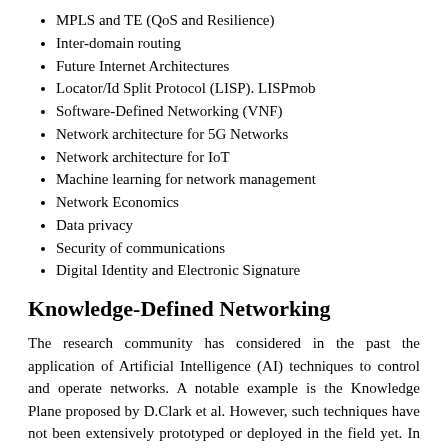MPLS and TE (QoS and Resilience)
Inter-domain routing
Future Internet Architectures
Locator/Id Split Protocol (LISP). LISPmob
Software-Defined Networking (VNF)
Network architecture for 5G Networks
Network architecture for IoT
Machine learning for network management
Network Economics
Data privacy
Security of communications
Digital Identity and Electronic Signature
Knowledge-Defined Networking
The research community has considered in the past the application of Artificial Intelligence (AI) techniques to control and operate networks. A notable example is the Knowledge Plane proposed by D.Clark et al. However, such techniques have not been extensively prototyped or deployed in the field yet. In this paper, we explore the reasons for the lack of adoption and posit that the rise of two recent paradigms: Software-Defined Networking (SDN) and Network Analytics (NA), will facilitate the adoption of AI techniques in the context of network operation and control. We